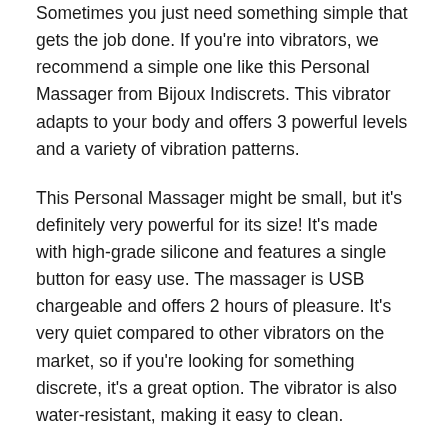Sometimes you just need something simple that gets the job done. If you're into vibrators, we recommend a simple one like this Personal Massager from Bijoux Indiscrets. This vibrator adapts to your body and offers 3 powerful levels and a variety of vibration patterns.
This Personal Massager might be small, but it's definitely very powerful for its size! It's made with high-grade silicone and features a single button for easy use. The massager is USB chargeable and offers 2 hours of pleasure. It's very quiet compared to other vibrators on the market, so if you're looking for something discrete, it's a great option. The vibrator is also water-resistant, making it easy to clean.